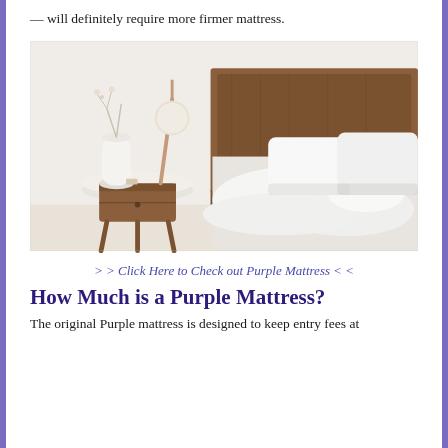— will definitely require more firmer mattress.
[Figure (photo): A bedroom scene with a wooden bed frame and white pillows/bedding on the right, and a round wooden nightstand with a rose gold lamp and white vase on the left, against a white wall.]
> > Click Here to Check out Purple Mattress < <
How Much is a Purple Mattress?
The original Purple mattress is designed to keep entry fees at